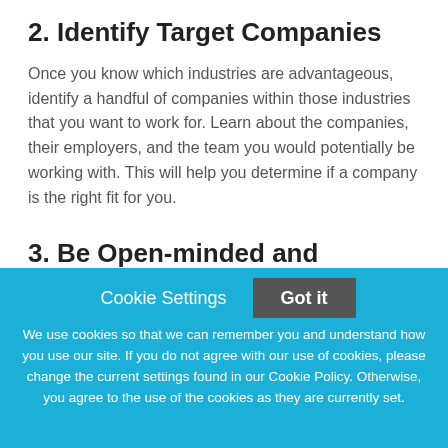2. Identify Target Companies
Once you know which industries are advantageous, identify a handful of companies within those industries that you want to work for. Learn about the companies, their employers, and the team you would potentially be working with. This will help you determine if a company is the right fit for you.
3. Be Open-minded and Adaptive
Cookie Settings
Got it
We use cookies so that we can remember you and understand how you use our site. If you do not agree with our use of cookies, please change the current settings found in our Cookie Policy. Otherwise, you agree to the use of the cookies as they are currently set.